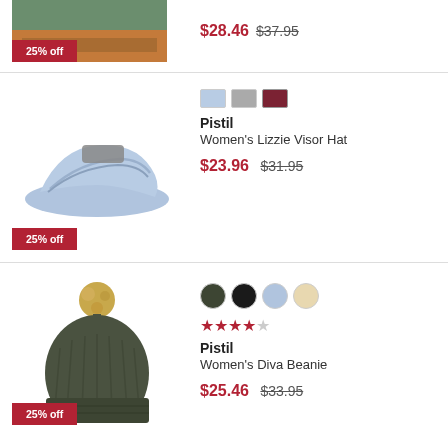25% off
$28.46  $37.95
[Figure (photo): Color swatches for visor hat - blue, grey, dark red]
25% off
Pistil
Women's Lizzie Visor Hat
$23.96  $31.95
[Figure (photo): Color swatches for beanie - dark olive, black, light blue, cream]
★★★★☆ (4 out of 5 stars)
25% off
Pistil
Women's Diva Beanie
$25.46  $33.95